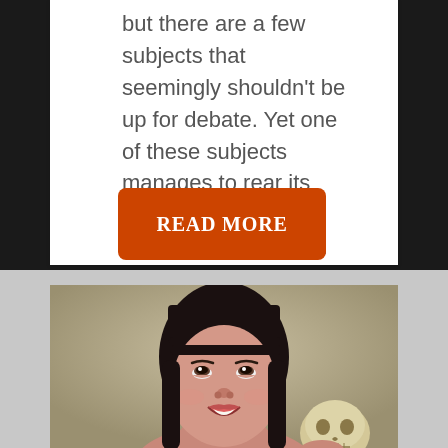but there are a few subjects that seemingly shouldn't be up for debate. Yet one of these subjects manages to rear its head every year, tearing the Internet...
[Figure (other): Orange 'READ MORE' button with rounded corners on white card background]
[Figure (photo): Photo of a woman with dark hair and bangs, smiling and looking upward, holding a human skull. Background is tan/beige.]